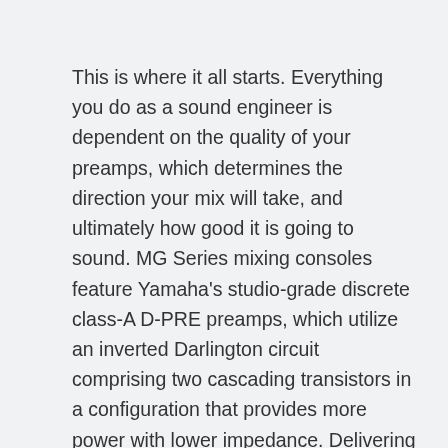This is where it all starts. Everything you do as a sound engineer is dependent on the quality of your preamps, which determines the direction your mix will take, and ultimately how good it is going to sound. MG Series mixing consoles feature Yamaha's studio-grade discrete class-A D-PRE preamps, which utilize an inverted Darlington circuit comprising two cascading transistors in a configuration that provides more power with lower impedance. Delivering fat, natural sounding bass and smooth, soaring highs, with very low distortion, D-PRE preamps possess an impressively wide frequency range that allow them to handle signal from any audio source without overly amplifying any specific elements of the sound. Having such a pure sonic platform to build on will ultimately save you time and effort by eliminating the need for